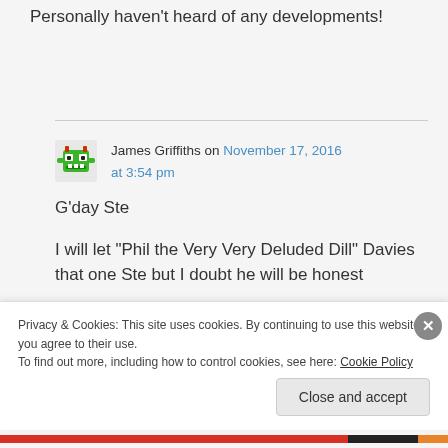Personally haven't heard of any developments!
James Griffiths on November 17, 2016 at 3:54 pm
G'day Ste
I will let “Phil the Very Very Deluded Dill” Davies that one Ste but I doubt he will be honest
Privacy & Cookies: This site uses cookies. By continuing to use this website, you agree to their use.
To find out more, including how to control cookies, see here: Cookie Policy